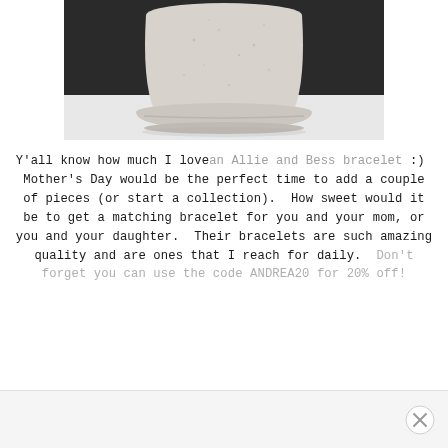[Figure (photo): Close-up photo of a speckled white/beige ceramic plant pot with saucer on a white surface, dark background]
Y'all know how much I love an Allie and Bess bracelet :)  Mother's Day would be the perfect time to add a couple of pieces (or start a collection).  How sweet would it be to get a matching bracelet for you and your mom, or you and your daughter.  Their bracelets are such amazing quality and are ones that I reach for daily.  Don't forget you can use the code ANDREA20 for 20% off!